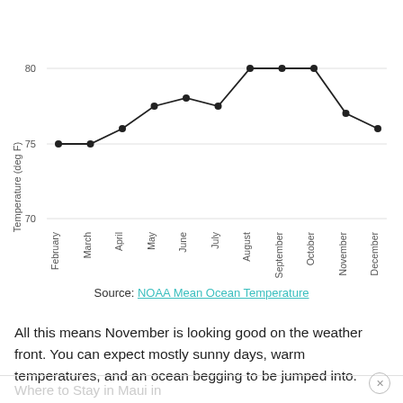[Figure (line-chart): ]
Source: NOAA Mean Ocean Temperature
All this means November is looking good on the weather front. You can expect mostly sunny days, warm temperatures, and an ocean begging to be jumped into.
Where to Stay in Maui in